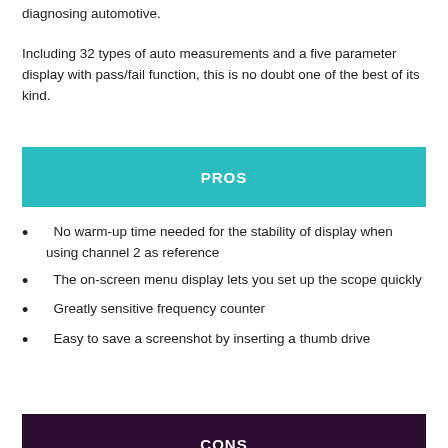diagnosing automotive.
Including 32 types of auto measurements and a five parameter display with pass/fail function, this is no doubt one of the best of its kind.
PROS
No warm-up time needed for the stability of display when using channel 2 as reference
The on-screen menu display lets you set up the scope quickly
Greatly sensitive frequency counter
Easy to save a screenshot by inserting a thumb drive
CONS